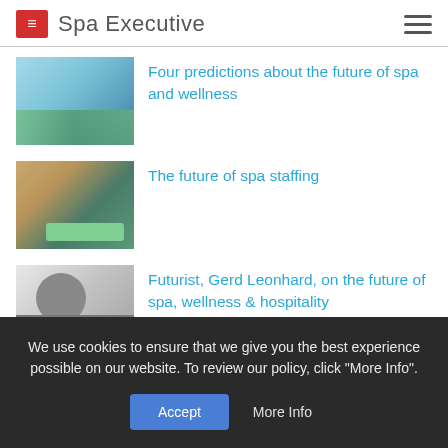Spa Executive
Four predictions about the future of spa and wellness
The future of spa staffing
Futurist, Gerd Leonhard, on the future of spa, wellness & hospitality
We use cookies to ensure that we give you the best experience possible on our website. To review our policy, click "More Info".